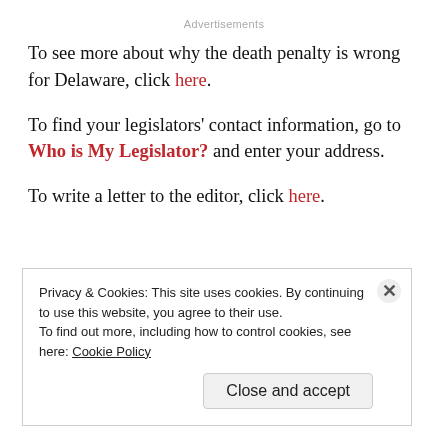Advertisements
To see more about why the death penalty is wrong for Delaware, click here.
To find your legislators' contact information, go to Who is My Legislator? and enter your address.
To write a letter to the editor, click here.
Privacy & Cookies: This site uses cookies. By continuing to use this website, you agree to their use.
To find out more, including how to control cookies, see here: Cookie Policy
Close and accept